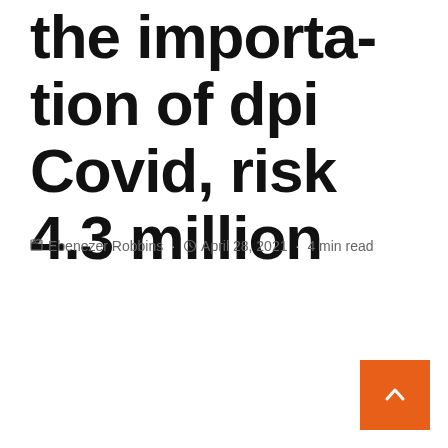the importation of dpi Covid, risk 4.3 million
Ebenezer Robbins · April 28, 2021 · 4 min read